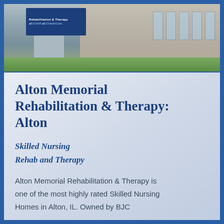[Figure (photo): Exterior photo of Alton Memorial Rehabilitation & Therapy building with a sign post in foreground showing the facility name, and a brick building with glass entrance in the background.]
Alton Memorial Rehabilitation & Therapy: Alton
Skilled Nursing
Rehab and Therapy
Alton Memorial Rehabilitation & Therapy is one of the most highly rated Skilled Nursing Homes in Alton, IL. Owned by BJC